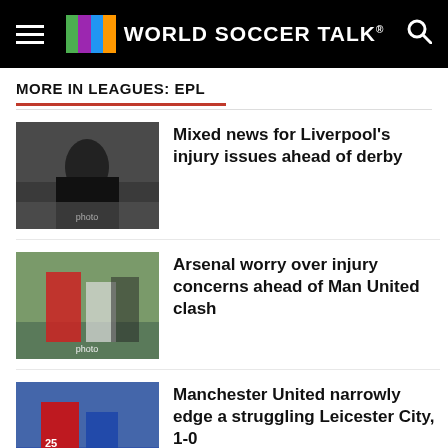WORLD SOCCER TALK
MORE IN LEAGUES: EPL
[Figure (photo): Soccer coach in black jacket on sideline with crowd in background]
Mixed news for Liverpool’s injury issues ahead of derby
[Figure (photo): Arsenal players in red and white kit on pitch]
Arsenal worry over injury concerns ahead of Man United clash
[Figure (photo): Manchester United player in red jersey number 25 against blue-kitted player]
Manchester United narrowly edge a struggling Leicester City, 1-0
Chelsea brings Pierre-Emerick Aubameyang back to London